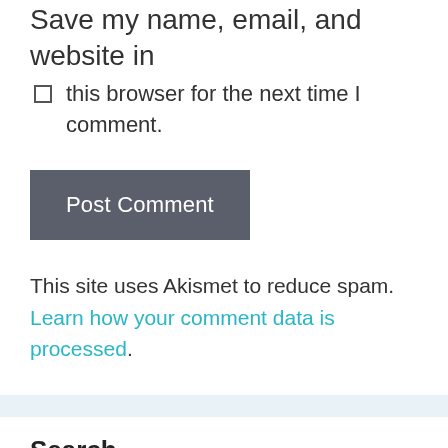Save my name, email, and website in this browser for the next time I comment.
Post Comment
This site uses Akismet to reduce spam. Learn how your comment data is processed.
Search
Search